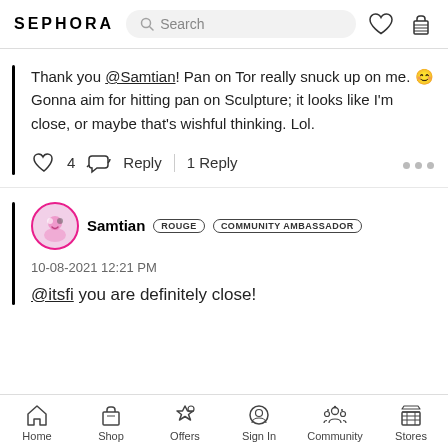SEPHORA
Thank you @Samtian! Pan on Tor really snuck up on me. 😊 Gonna aim for hitting pan on Sculpture; it looks like I'm close, or maybe that's wishful thinking. Lol.
❤ 4  ↩ Reply | 1 Reply
Samtian ROUGE COMMUNITY AMBASSADOR
10-08-2021 12:21 PM
@itsfi you are definitely close!
Home  Shop  Offers  Sign In  Community  Stores